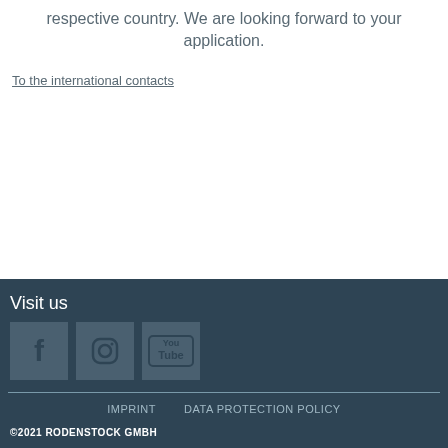respective country. We are looking forward to your application.
To the international contacts
Visit us
[Figure (logo): Facebook, Instagram, and YouTube social media icons in grey square boxes on dark background]
IMPRINT   DATA PROTECTION POLICY
©2021 RODENSTOCK GMBH